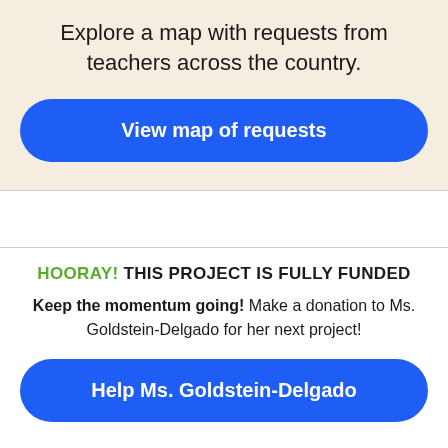Explore a map with requests from teachers across the country.
View map of requests
HOORAY! THIS PROJECT IS FULLY FUNDED
Keep the momentum going! Make a donation to Ms. Goldstein-Delgado for her next project!
Help Ms. Goldstein-Delgado